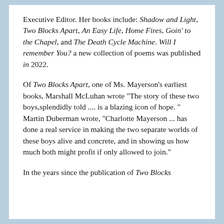Executive Editor. Her books include: Shadow and Light, Two Blocks Apart, An Easy Life, Home Fires, Goin' to the Chapel, and The Death Cycle Machine. Will I remember You? a new collection of poems was published in 2022.
Of Two Blocks Apart, one of Ms. Mayerson's earliest books, Marshall McLuhan wrote "The story of these two boys,splendidly told .... is a blazing icon of hope." Martin Duberman wrote, "Charlotte Mayerson ... has done a real service in making the two separate worlds of these boys alive and concrete, and in showing us how much both might profit if only allowed to join."
In the years since the publication of Two Blocks